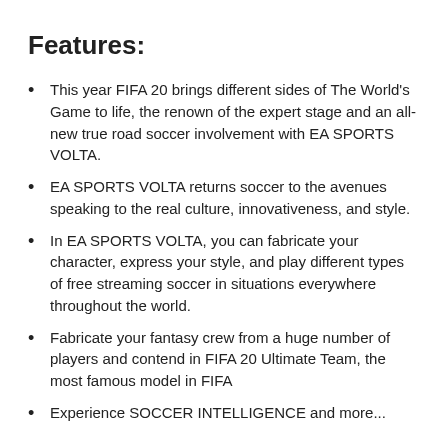Features:
This year FIFA 20 brings different sides of The World's Game to life, the renown of the expert stage and an all-new true road soccer involvement with EA SPORTS VOLTA.
EA SPORTS VOLTA returns soccer to the avenues speaking to the real culture, innovativeness, and style.
In EA SPORTS VOLTA, you can fabricate your character, express your style, and play different types of free streaming soccer in situations everywhere throughout the world.
Fabricate your fantasy crew from a huge number of players and contend in FIFA 20 Ultimate Team, the most famous model in FIFA
Experience SOCCER INTELLIGENCE and...